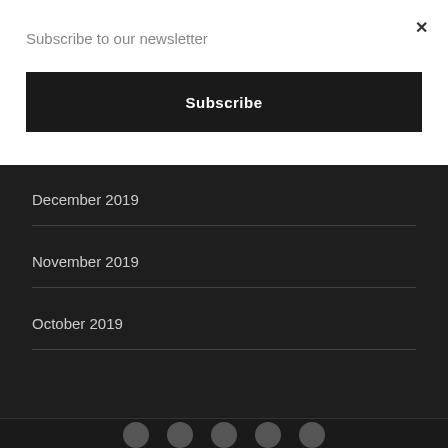Subscribe to our newsletter
Subscribe
December 2019
November 2019
October 2019